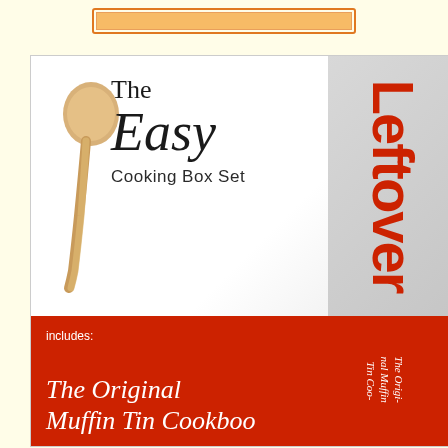[Figure (illustration): 3D product box set rendering of 'The Easy Cooking Box Set' on a pale yellow background. The front face shows a wooden spoon, the title 'The Easy Cooking Box Set', and a red band at the bottom reading 'includes: The Original Muffin Tin Cookboo[k]'. The side face shows 'Leftover' in large red letters and 'The Origi[nal] Muffin Tin Coo[kbook]' in white italic on a red background.]